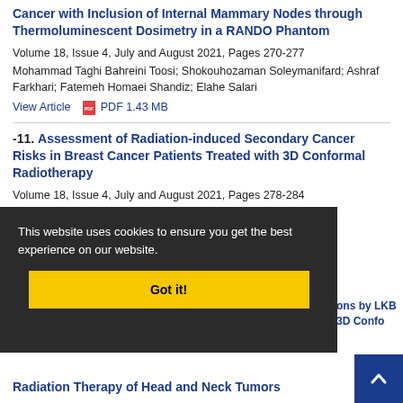Cancer with Inclusion of Internal Mammary Nodes through Thermoluminescent Dosimetry in a RANDO Phantom
Volume 18, Issue 4, July and August 2021, Pages 270-277
Mohammad Taghi Bahreini Toosi; Shokouhozaman Soleymanifard; Ashraf Farkhari; Fatemeh Homaei Shandiz; Elahe Salari
View Article  PDF 1.43 MB
-11. Assessment of Radiation-induced Secondary Cancer Risks in Breast Cancer Patients Treated with 3D Conformal Radiotherapy
Volume 18, Issue 4, July and August 2021, Pages 278-284
Shima Mahmoudi; Nasim Kavousi; Mohssen Hassani; Mahbod
This website uses cookies to ensure you get the best experience on our website.
Got it!
Radiation Therapy of Head and Neck Tumors